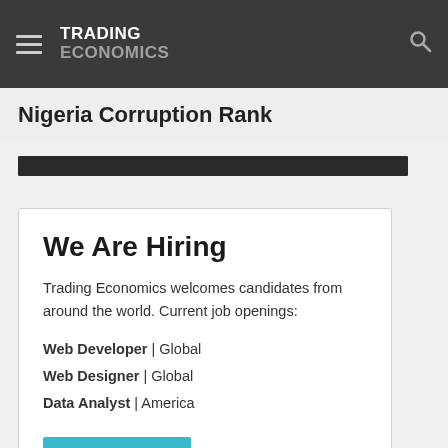TRADING ECONOMICS
Nigeria Corruption Rank
[Figure (other): Dark content bar, partial view of a chart or data strip]
We Are Hiring
Trading Economics welcomes candidates from around the world. Current job openings:
Web Developer | Global
Web Designer | Global
Data Analyst | America
Apply Now